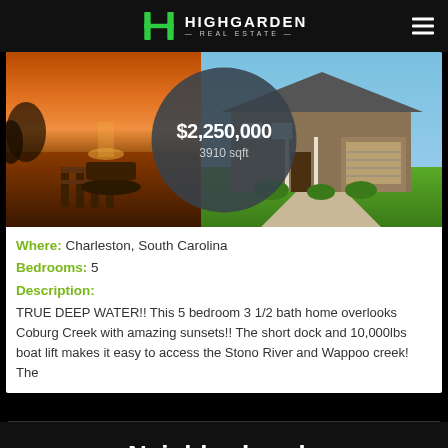HIGHGARDEN REAL ESTATE
[Figure (photo): Composite image: left side shows a waterfront dock scene at sunset with orange/amber tones; right side shows a large brick colonial house with garage and green lawn; center has a dark semi-transparent circle overlay with price and square footage]
Where: Charleston, South Carolina
Bedrooms: 5
Description:
TRUE DEEP WATER!! This 5 bedroom 3 1/2 bath home overlooks Coburg Creek with amazing sunsets!! The short dock and 10,000lbs boat lift makes it easy to access the Stono River and Wappoo creek! The
Neighborhoods
Charleston
Summerville